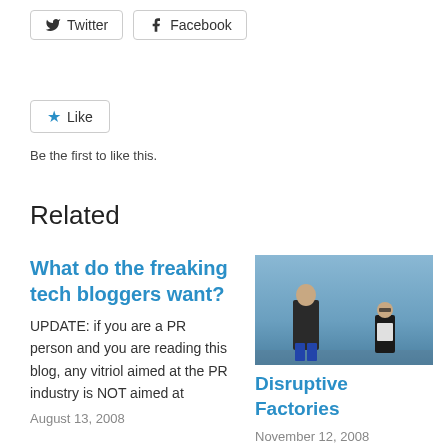[Figure (other): Twitter and Facebook share buttons]
[Figure (other): Like button with star icon]
Be the first to like this.
Related
What do the freaking tech bloggers want?
UPDATE: if you are a PR person and you are reading this blog, any vitriol aimed at the PR industry is NOT aimed at
August 13, 2008
[Figure (photo): Two people standing outdoors against a blue sky background]
Disruptive Factories
November 12, 2008
With 93 comments